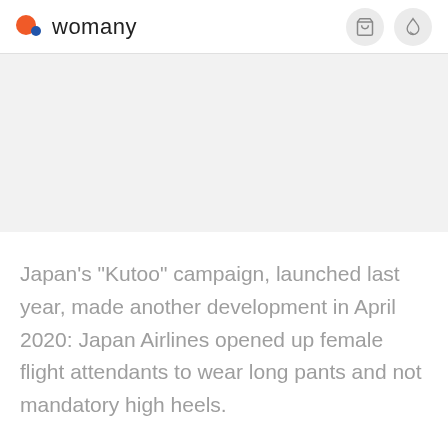womany
[Figure (other): Gray placeholder image area]
Japan's "Kutoo" campaign, launched last year, made another development in April 2020: Japan Airlines opened up female flight attendants to wear long pants and not mandatory high heels.